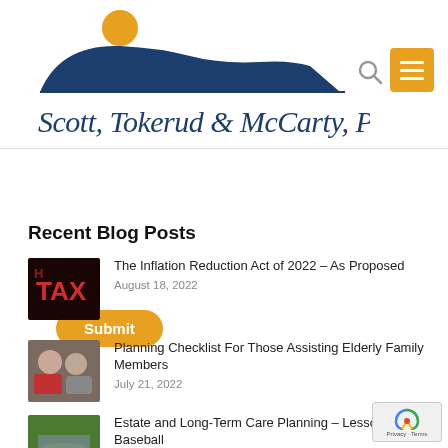[Figure (logo): Scott, Tokerud & McCarty, P.C. law firm logo with blue mesa/butte landscape silhouette and orange sun, with cursive firm name beneath]
[Figure (other): Orange hamburger menu button with three white horizontal lines]
[Figure (other): Submit button in orange/amber with white bold text]
Recent Blog Posts
[Figure (photo): Thumbnail image of red TAX neon sign]
The Inflation Reduction Act of 2022 – As Proposed
August 18, 2022
[Figure (photo): Thumbnail image of elderly couple smiling]
Planning Checklist For Those Assisting Elderly Family Members
July 21, 2022
[Figure (photo): Thumbnail image of baseball stadium]
Estate and Long-Term Care Planning – Lessons From Baseball